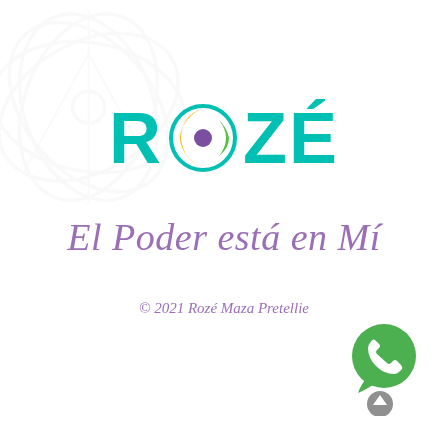[Figure (logo): ROZÉ brand logo with teal text and eye emblem with yellow crescent, green arc, and purple dot in the O]
El Poder está en Mí
© 2021 Rozé Maza Pretellie
[Figure (illustration): WhatsApp green phone icon button in bottom right corner, with a grey upward arrow button below it]